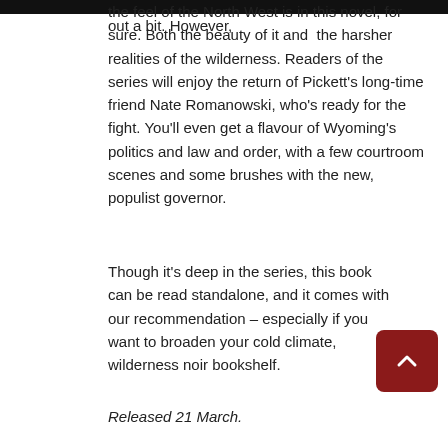out a bit. However, the feel of the North West is in this novel, for sure. Both the beauty of it and the harsher realities of the wilderness. Readers of the series will enjoy the return of Pickett's long-time friend Nate Romanowski, who's ready for the fight. You'll even get a flavour of Wyoming's politics and law and order, with a few courtroom scenes and some brushes with the new, populist governor.
Though it's deep in the series, this book can be read standalone, and it comes with our recommendation – especially if you want to broaden your cold climate, wilderness noir bookshelf.
Released 21 March.